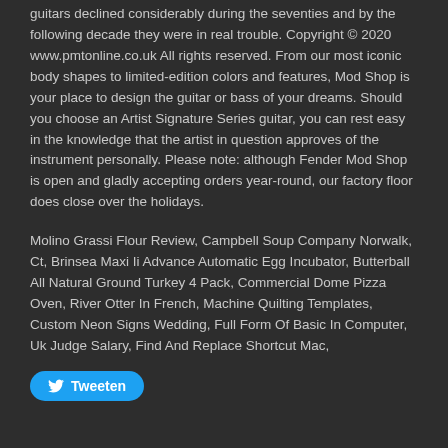guitars declined considerably during the seventies and by the following decade they were in real trouble. Copyright © 2020 www.pmtonline.co.uk All rights reserved. From our most iconic body shapes to limited-edition colors and features, Mod Shop is your place to design the guitar or bass of your dreams. Should you choose an Artist Signature Series guitar, you can rest easy in the knowledge that the artist in question approves of the instrument personally. Please note: although Fender Mod Shop is open and gladly accepting orders year-round, our factory floor does close over the holidays.
Molino Grassi Flour Review, Campbell Soup Company Norwalk, Ct, Brinsea Maxi Ii Advance Automatic Egg Incubator, Butterball All Natural Ground Turkey 4 Pack, Commercial Dome Pizza Oven, River Otter In French, Machine Quilting Templates, Custom Neon Signs Wedding, Full Form Of Basic In Computer, Uk Judge Salary, Find And Replace Shortcut Mac,
Tweeten